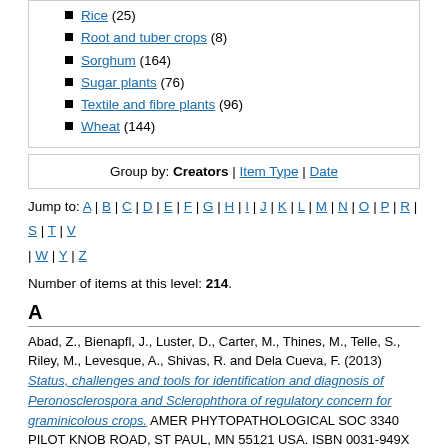Rice (25)
Root and tuber crops (8)
Sorghum (164)
Sugar plants (76)
Textile and fibre plants (96)
Wheat (144)
Group by: Creators | Item Type | Date
Jump to: A | B | C | D | E | F | G | H | I | J | K | L | M | N | O | P | R | S | T | V | W | Y | Z
Number of items at this level: 214.
A
Abad, Z., Bienapfl, J., Luster, D., Carter, M., Thines, M., Telle, S., Riley, M., Levesque, A., Shivas, R. and Dela Cueva, F. (2013) Status, challenges and tools for identification and diagnosis of Peronosclerospora and Sclerophthora of regulatory concern for graminicolous crops. AMER PHYTOPATHOLOGICAL SOC 3340 PILOT KNOB ROAD, ST PAUL, MN 55121 USA. ISBN 0031-949X
Abdullah, A. S. and Douglas, C. (2021) Halo Blight of Mungbean in Australia. Crops, 1 (1). pp. 3-7. ISSN 2673-7655